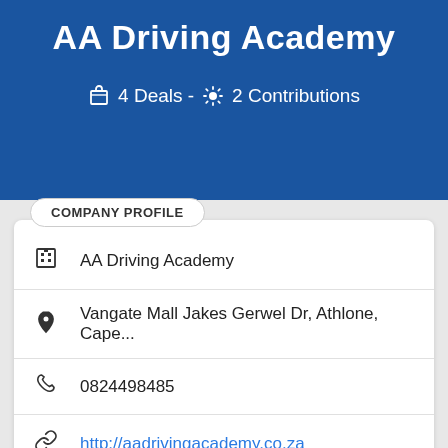AA Driving Academy
🛒 4 Deals - ⚙ 2 Contributions
COMPANY PROFILE
AA Driving Academy
Vangate Mall Jakes Gerwel Dr, Athlone, Cape...
0824498485
http://aadrivingacademy.co.za
Western Cape » Cape Town
Motoring » Driving Schools